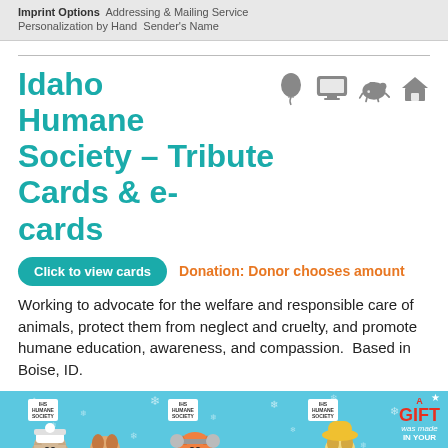Imprint Options  Addressing & Mailing Service  Personalization by Hand  Sender's Name
Idaho Humane Society – Tribute Cards & e-cards
Click to view cards   Donation: Donor chooses amount
Working to advocate for the welfare and responsible care of animals, protect them from neglect and cruelty, and promote humane education, awareness, and compassion.  Based in Boise, ID.
[Figure (photo): Photo strip of Idaho Humane Society tribute cards featuring cats and dogs in winter accessories against a blue snowy background, with 'A GIFT was made IN YOUR' text on the right side.]